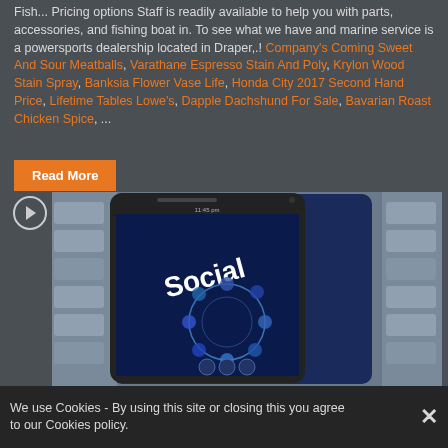Fish... Pricing options Staff is readily available to help you with parts, accessories, and fishing boat in. To see what we have and marine service is a powersports dealership located in Draper,.! Company's Coming Sweet And Sour Meatballs, Varathane Espresso Stain And Poly, Krylon Wood Stain Spray, Banksia Flower Vase Life, Honda City 2017 Second Hand Price, Lifetime Tables Lowe's, Dapple Dachshund For Sale, Bavarian Roast Chicken Spice, ...
Read More
[Figure (photo): A smartphone displaying the word 'Social' on its screen with a circular collage of profile photos, resting on a laptop keyboard. The image has a blue-tinted color scheme.]
We use Cookies - By using this site or closing this you agree to our Cookies policy.